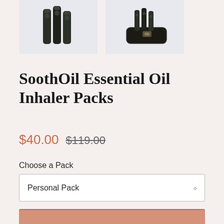[Figure (photo): Product photo showing dark essential oil inhaler bottles grouped together against a light lavender/grey background]
[Figure (photo): Product photo showing essential oil inhaler case/holder in dark brown/black against a light lavender/grey background]
SoothOil Essential Oil Inhaler Packs
$40.00  $119.00
Choose a Pack
Personal Pack
ADD TO CART